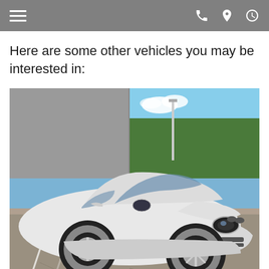Navigation bar with hamburger menu, phone, location, and clock icons
Here are some other vehicles you may be interested in:
[Figure (photo): White Porsche 911 GT3 sports car parked in a parking lot, shot from a front three-quarter angle. The car is white with red brake calipers and polished alloy wheels. Background shows a grey building wall on the left and trees under a blue sky on the right.]